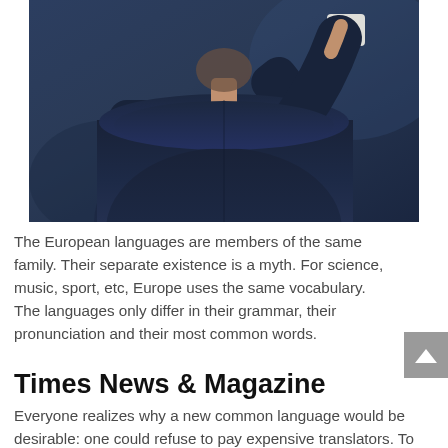[Figure (photo): A man in a dark navy blue suit photographed from behind, right arm raised holding what appears to be a piece of paper or cup, against a dark background.]
The European languages are members of the same family. Their separate existence is a myth. For science, music, sport, etc, Europe uses the same vocabulary. The languages only differ in their grammar, their pronunciation and their most common words.
Times News & Magazine
Everyone realizes why a new common language would be desirable: one could refuse to pay expensive translators. To achieve this, it would be necessary to have uniform grammar, pronunciation and more